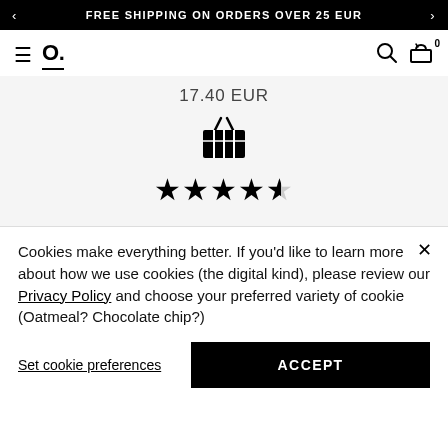FREE SHIPPING ON ORDERS OVER 25 EUR
[Figure (screenshot): E-commerce navigation bar with hamburger menu, logo 'O.', search icon, and shopping cart icon with 0 items]
17.40 EUR
[Figure (illustration): Shopping basket icon]
[Figure (illustration): Star rating: 4.5 out of 5 stars]
Cookies make everything better. If you'd like to learn more about how we use cookies (the digital kind), please review our Privacy Policy and choose your preferred variety of cookie (Oatmeal? Chocolate chip?)
Set cookie preferences
ACCEPT